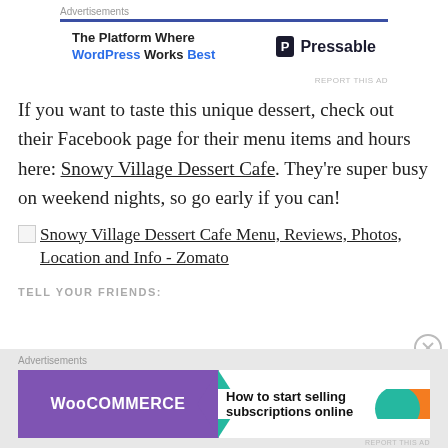[Figure (other): Pressable advertisement banner: 'The Platform Where WordPress Works Best' with Pressable logo]
If you want to taste this unique dessert, check out their Facebook page for their menu items and hours here: Snowy Village Dessert Cafe. They're super busy on weekend nights, so go early if you can!
[Figure (other): Broken image link: Snowy Village Dessert Cafe Menu, Reviews, Photos, Location and Info - Zomato]
TELL YOUR FRIENDS:
[Figure (other): WooCommerce advertisement banner: 'How to start selling subscriptions online']